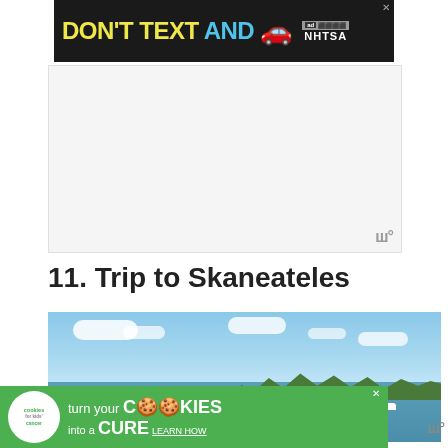[Figure (screenshot): NHTSA 'Don't Text and Drive' advertisement banner at top with yellow bold text, red car emoji, ad badge and NHTSA logo on dark background]
[Figure (other): White/light gray blank advertisement area placeholder]
11. Trip to Skaneateles
[Figure (photo): Outdoor summer photo of Skaneateles Lake with boats, dock, people, blue sky with clouds, and green treeline in the background]
[Figure (screenshot): Cookies for Kids' Cancer advertisement at bottom: green background with cookie logo, 'turn your COOKIES into a CURE LEARN HOW' text]